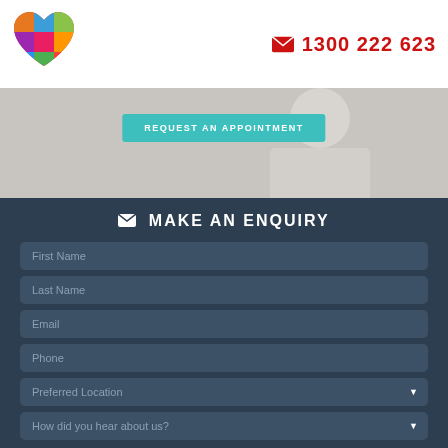[Figure (logo): Colorful heart-shaped logo made of painted textures]
1300 222 623
[Figure (photo): Person in medical/professional context, partially visible behind button]
REQUEST AN APPOINTMENT
MAKE AN ENQUIRY
First Name
Last Name
Email
Phone
Preferred Location
How did you hear about us?